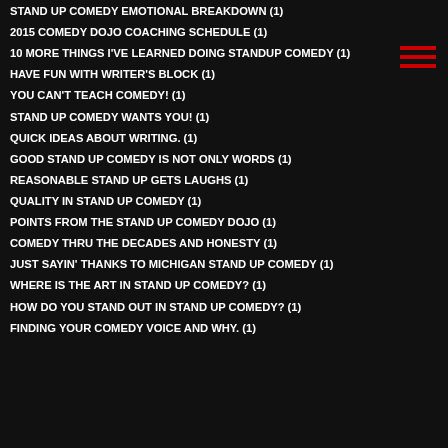STAND UP COMEDY EMOTIONAL BREAKDOWN (1)
2015 COMEDY DOJO COACHING SCHEDULE (1)
10 MORE THINGS I'VE LEARNED DOING STANDUP COMEDY (1)
HAVE FUN WITH WRITER'S BLOCK (1)
YOU CAN'T TEACH COMEDY! (1)
STAND UP COMEDY WANTS YOU! (1)
QUICK IDEAS ABOUT WRITING. (1)
GOOD STAND UP COMEDY IS NOT ONLY WORDS (1)
REASONABLE STAND UP GETS LAUGHS (1)
QUALITY IN STAND UP COMEDY (1)
POINTS FROM THE STAND UP COMEDY DOJO (1)
COMEDY THRU THE DECADES AND HONESTY (1)
JUST SAYIN' THANKS TO MICHIGAN STAND UP COMEDY (1)
WHERE IS THE ART IN STAND UP COMEDY? (1)
HOW DO YOU STAND OUT IN STAND UP COMEDY? (1)
FINDING YOUR COMEDY VOICE AND WHY. (1)